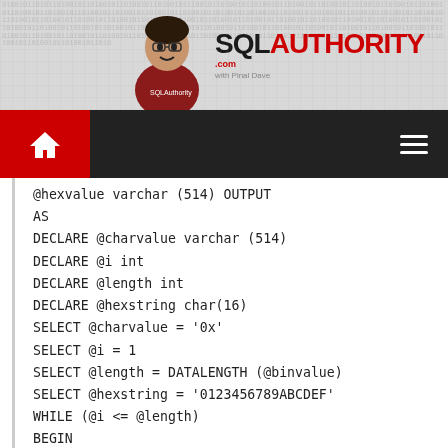[Figure (logo): SQL Authority website banner with person and logo]
SQL AUTHORITY .com with Pinal Dave
@hexvalue varchar (514) OUTPUT
AS
DECLARE @charvalue varchar (514)
DECLARE @i int
DECLARE @length int
DECLARE @hexstring char(16)
SELECT @charvalue = '0x'
SELECT @i = 1
SELECT @length = DATALENGTH (@binvalue)
SELECT @hexstring = '0123456789ABCDEF'
WHILE (@i <= @length)
BEGIN
DECLARE @tempint int
DECLARE @firstint int